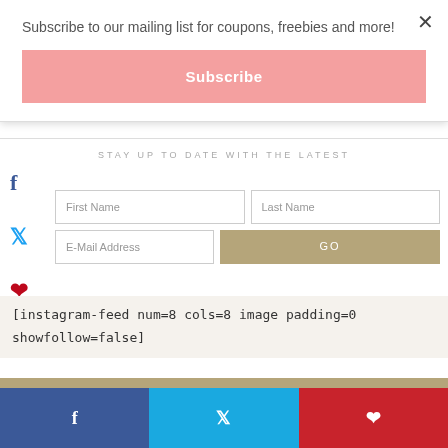Subscribe to our mailing list for coupons, freebies and more!
Subscribe
STAY UP TO DATE WITH THE LATEST
First Name
Last Name
E-Mail Address
GO
[instagram-feed num=8 cols=8 image padding=0 showfollow=false]
[Figure (infographic): Bottom social share bar with Facebook (blue), Twitter (light blue), and Pinterest (red) icons]